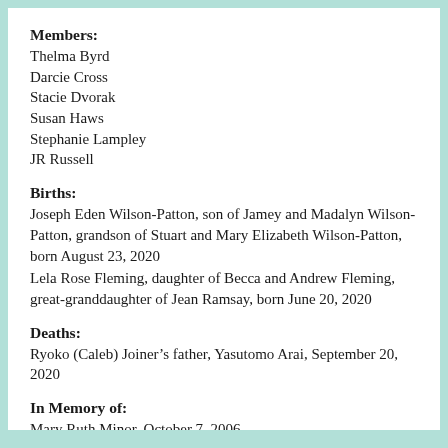Members:
Thelma Byrd
Darcie Cross
Stacie Dvorak
Susan Haws
Stephanie Lampley
JR Russell
Births:
Joseph Eden Wilson-Patton, son of Jamey and Madalyn Wilson-Patton, grandson of Stuart and Mary Elizabeth Wilson-Patton, born August 23, 2020
Lela Rose Fleming, daughter of Becca and Andrew Fleming, great-granddaughter of Jean Ramsay, born June 20, 2020
Deaths:
Ryoko (Caleb) Joiner’s father, Yasutomo Arai, September 20, 2020
In Memory of:
Mary Ruth Minor, October 7, 2006
Wes Miller, October 7, 2017